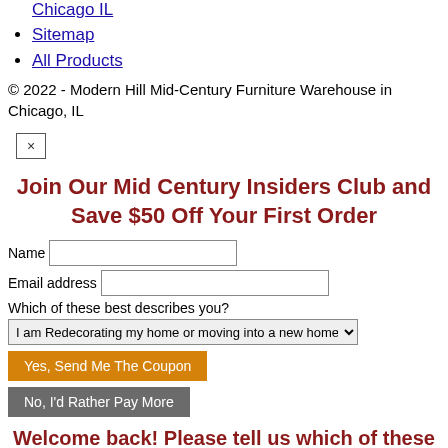Chicago IL
Sitemap
All Products
© 2022 - Modern Hill Mid-Century Furniture Warehouse in Chicago, IL
×
Join Our Mid Century Insiders Club and Save $50 Off Your First Order
Name [input] Email address [input] Which of these best describes you? [dropdown: I am Redecorating my home or moving into a new home] [button: Yes, Send Me The Coupon] [button: No, I'd Rather Pay More]
Welcome back! Please tell us which of these best describe you and save $50 off